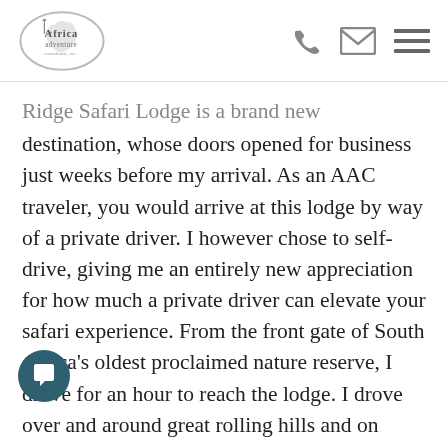Africa Adventure Consultants logo with phone, email, and menu icons
Ridge Safari Lodge is a brand new destination, whose doors opened for business just weeks before my arrival. As an AAC traveler, you would arrive at this lodge by way of a private driver. I however chose to self-drive, giving me an entirely new appreciation for how much a private driver can elevate your safari experience. From the front gate of South Africa's oldest proclaimed nature reserve, I drove for an hour to reach the lodge. I drove over and around great rolling hills and on roads that were sometimes paved,